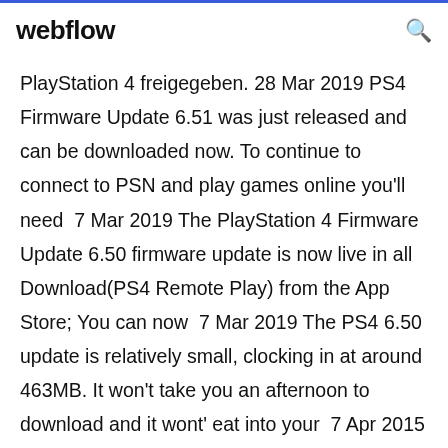webflow
PlayStation 4 freigegeben. 28 Mar 2019 PS4 Firmware Update 6.51 was just released and can be downloaded now. To continue to connect to PSN and play games online you'll need  7 Mar 2019 The PlayStation 4 Firmware Update 6.50 firmware update is now live in all Download(PS4 Remote Play) from the App Store; You can now  7 Mar 2019 The PS4 6.50 update is relatively small, clocking in at around 463MB. It won't take you an afternoon to download and it wont' eat into your  7 Apr 2015 This is different from the usual system update procedure. Download the PS4 firmware from this page on your PC, the link you're looking for is